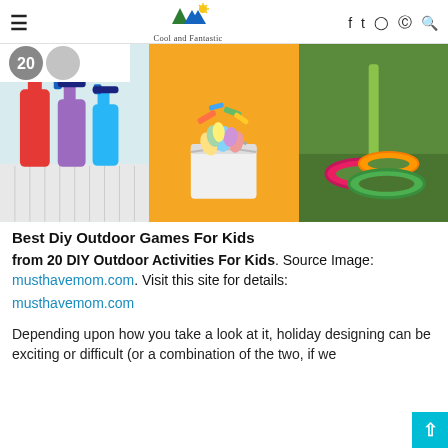☰  Cool and Fantastic  f  twitter  instagram  pinterest  search
[Figure (photo): Three-panel collage image: left panel shows colorful cleaning spray bottles (red, purple, blue) on a white surface; center panel shows a bucket filled with colorful rolled washi tapes on an orange background; right panel shows neon ring toss rings (pink, orange, green) on grass with a green stick.]
Best Diy Outdoor Games For Kids
from 20 DIY Outdoor Activities For Kids. Source Image: musthavemom.com. Visit this site for details: musthavemom.com
Depending upon how you take a look at it, holiday designing can be exciting or difficult (or a combination of the two, if we